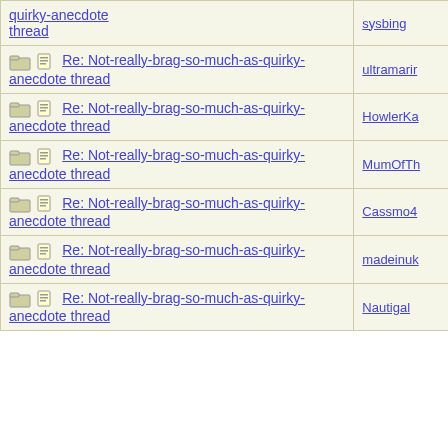| Topic | Author |
| --- | --- |
| [folder][doc] Re: Not-really-brag-so-much-as-quirky-anecdote thread | sysbing... |
| [folder][doc] Re: Not-really-brag-so-much-as-quirky-anecdote thread | ultramarir... |
| [folder][doc] Re: Not-really-brag-so-much-as-quirky-anecdote thread | HowlerKa... |
| [folder][doc] Re: Not-really-brag-so-much-as-quirky-anecdote thread | MumOfTh... |
| [folder][doc] Re: Not-really-brag-so-much-as-quirky-anecdote thread | Cassmo4... |
| [folder][doc] Re: Not-really-brag-so-much-as-quirky-anecdote thread | madeinuk... |
| [folder][doc] Re: Not-really-brag-so-much-as-quirky-anecdote thread | Nautigal... |